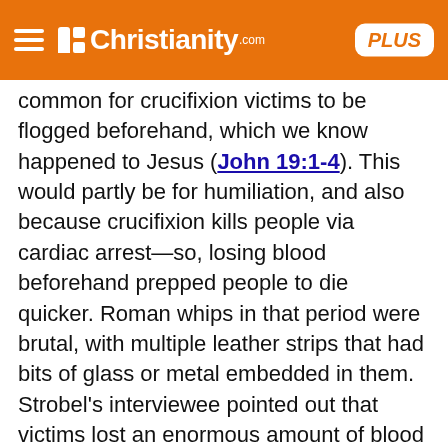Christianity.com PLUS
common for crucifixion victims to be flogged beforehand, which we know happened to Jesus (John 19:1-4). This would partly be for humiliation, and also because crucifixion kills people via cardiac arrest—so, losing blood beforehand prepped people to die quicker. Roman whips in that period were brutal, with multiple leather strips that had bits of glass or metal embedded in them. Strobel's interviewee pointed out that victims lost an enormous amount of blood and even muscle; some people died just from the